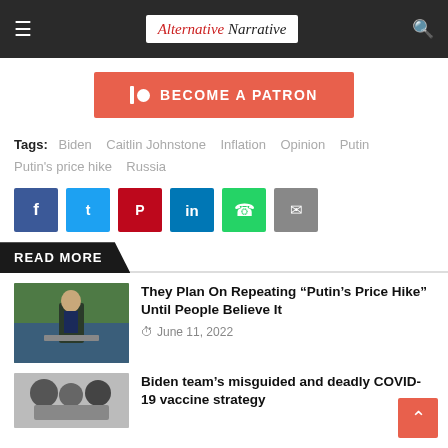Alternative Narrative
[Figure (other): Patreon button: BECOME A PATRON]
Tags: Biden  Caitlin Johnstone  Inflation  Opinion  Putin  Putin's price hike  Russia
[Figure (other): Social share buttons: Facebook, Twitter, Pinterest, LinkedIn, WhatsApp, Email]
READ MORE
[Figure (photo): Article thumbnail: person speaking at podium]
They Plan On Repeating “Putin’s Price Hike” Until People Believe It
June 11, 2022
[Figure (photo): Article thumbnail: black and white image]
Biden team’s misguided and deadly COVID-19 vaccine strategy